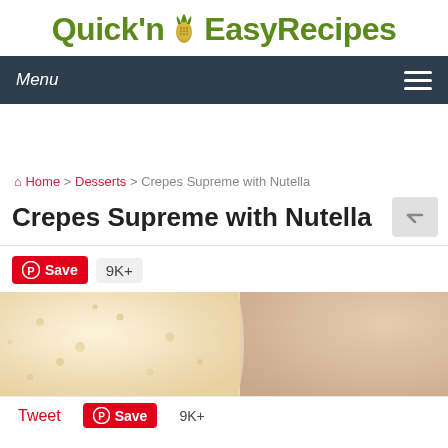[Figure (logo): Quick'n Easy Recipes logo with corn graphic, green text on white background]
Menu ☰
Home > Desserts > Crepes Supreme with Nutella
Crepes Supreme with Nutella
Save 9K+
[Figure (photo): Close-up photo of crepes, showing pale yellow crepe texture on left and creamy Nutella filling on right]
Tweet Save 9K+